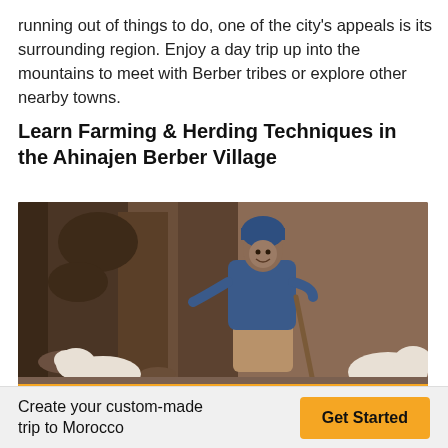running out of things to do, one of the city’s appeals is its surrounding region. Enjoy a day trip up into the mountains to meet with Berber tribes or explore other nearby towns.
Learn Farming & Herding Techniques in the Ahinajen Berber Village
[Figure (photo): A Berber herder man in a blue jacket and tan djellaba, wearing a blue knit hat, standing among sheep on a rocky mountain slope.]
Create your custom-made trip to Morocco
Get Started